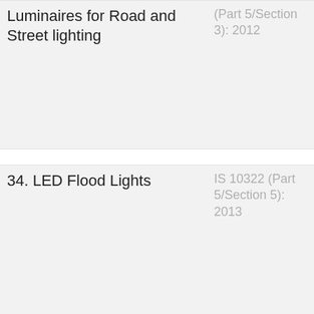| Item | Standard |
| --- | --- |
| Luminaires for Road and Street lighting | IS 10322 (Part 5/Section 3): 2012 |
| 34. LED Flood Lights | IS 10322 (Part 5/Section 5): 2013 |
| 35. LED Hand ... | IS 10322 (Part ... |